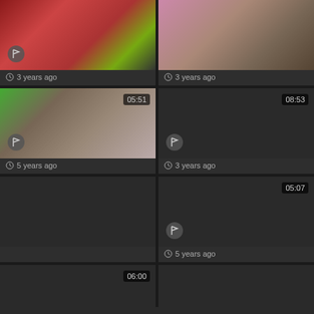[Figure (screenshot): Video thumbnail grid showing 8 video thumbnails in a 2-column layout with durations and age metadata]
3 years ago
3 years ago
05:51
5 years ago
08:53
3 years ago
05:07
5 years ago
06:00